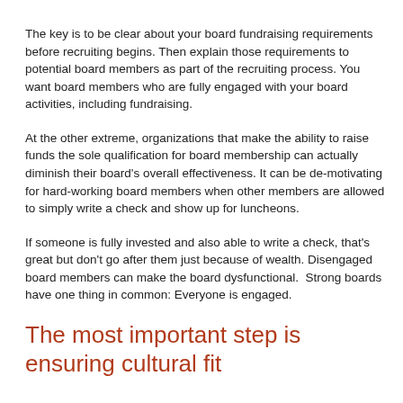The key is to be clear about your board fundraising requirements before recruiting begins. Then explain those requirements to potential board members as part of the recruiting process. You want board members who are fully engaged with your board activities, including fundraising.
At the other extreme, organizations that make the ability to raise funds the sole qualification for board membership can actually diminish their board's overall effectiveness. It can be de-motivating for hard-working board members when other members are allowed to simply write a check and show up for luncheons.
If someone is fully invested and also able to write a check, that's great but don't go after them just because of wealth. Disengaged board members can make the board dysfunctional. Strong boards have one thing in common: Everyone is engaged.
The most important step is ensuring cultural fit